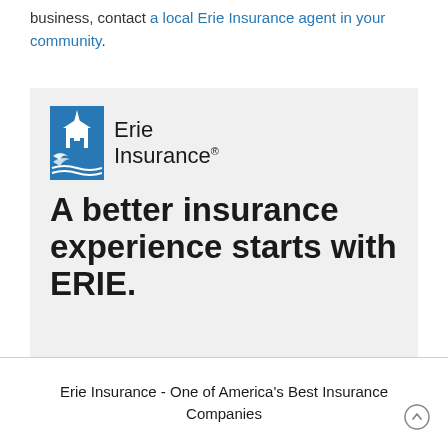business, contact a local Erie Insurance agent in your community.
[Figure (logo): Erie Insurance logo with blue building icon and text 'Erie Insurance' with registered trademark, followed by tagline 'A better insurance experience starts with ERIE.']
Erie Insurance - One of America's Best Insurance Companies